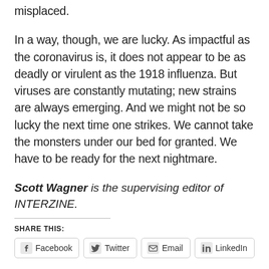misplaced.
In a way, though, we are lucky. As impactful as the coronavirus is, it does not appear to be as deadly or virulent as the 1918 influenza. But viruses are constantly mutating; new strains are always emerging. And we might not be so lucky the next time one strikes. We cannot take the monsters under our bed for granted. We have to be ready for the next nightmare.
Scott Wagner is the supervising editor of INTERZINE.
SHARE THIS:
Facebook  Twitter  Email  LinkedIn